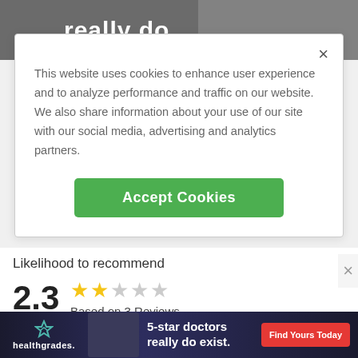[Figure (photo): Background strip showing partial text 'really do' in white bold font on a dark background with a person partially visible]
This website uses cookies to enhance user experience and to analyze performance and traffic on our website. We also share information about your use of our site with our social media, advertising and analytics partners.
Accept Cookies
Likelihood to recommend
2.3
Based on 3 Reviews
5 Stars (1)
4 Stars (0)
3 Stars
2 Stars
ADVERTISEMENT
[Figure (photo): Healthgrades advertisement banner with text '5-star doctors really do exist.' and 'Find Yours Today' CTA button, person with glasses visible]